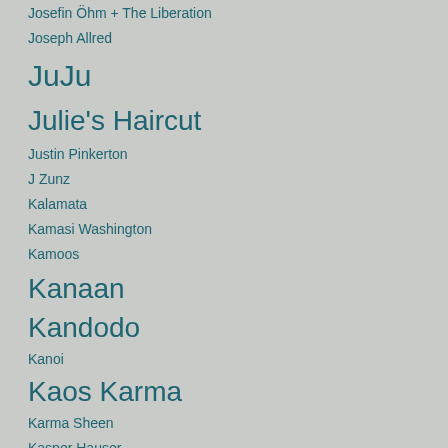Josefin Öhm + The Liberation
Joseph Allred
JuJu
Julie's Haircut
Justin Pinkerton
J Zunz
Kalamata
Kamasi Washington
Kamoos
Kanaan
Kandodo
Kanoi
Kaos Karma
Karma Sheen
Kasper Hauser
Kel Assouf
Kelly Lee Owens
Khünnt
Kikagaku Moyo / 幾何学模様
killfi